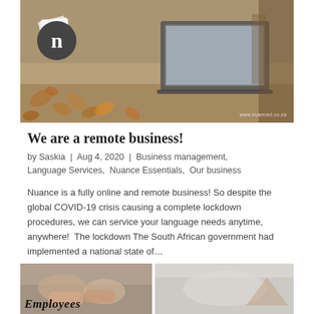[Figure (photo): Hero image showing a laptop on autumn leaves background with newspaper logo (n) in top left and watermark www.nuanced.co.za in bottom right]
We are a remote business!
by Saskia | Aug 4, 2020 | Business management, Language Services, Nuance Essentials, Our business
Nuance is a fully online and remote business! So despite the global COVID-19 crisis causing a complete lockdown procedures, we can service your language needs anytime, anywhere!  The lockdown The South African government had implemented a national state of…
[Figure (photo): Two bottom thumbnail images: left shows hands/people with bold text overlay starting with 'Employees', right shows a lighter image]